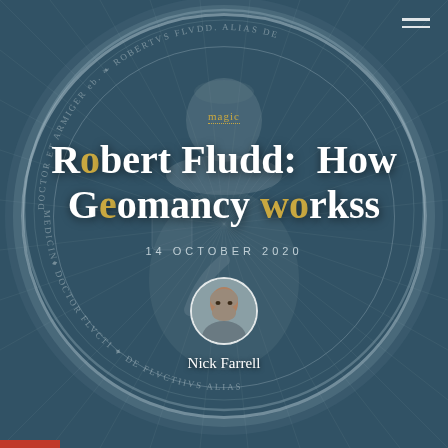[Figure (illustration): Dark teal-toned engraving portrait of Robert Fludd in a circular medallion with Latin text around the border. The figure wears an Elizabethan ruff collar and places one hand on chest. Radial lines emanate from behind the figure.]
magic
Robert Fludd:  How Geomancy workss
14 OCTOBER 2020
[Figure (photo): Circular portrait photo of Nick Farrell, a bearded middle-aged man.]
Nick Farrell